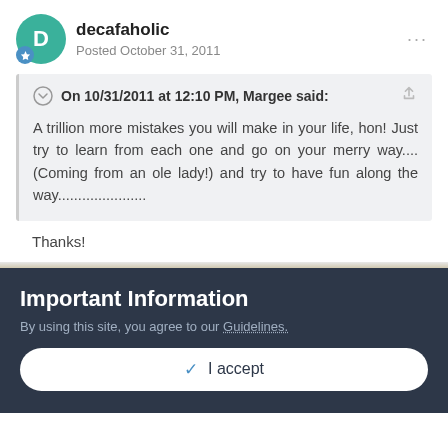decafaholic
Posted October 31, 2011
On 10/31/2011 at 12:10 PM, Margee said:
A trillion more mistakes you will make in your life, hon! Just try to learn from each one and go on your merry way.... (Coming from an ole lady!) and try to have fun along the way......................
Thanks!
Important Information
By using this site, you agree to our Guidelines.
✓ I accept